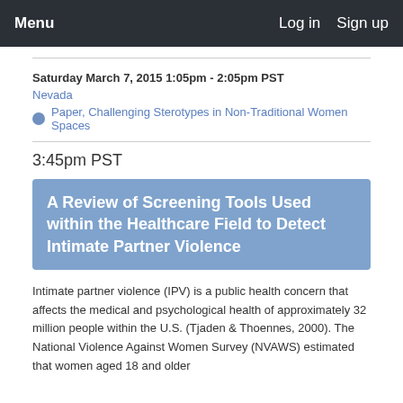Menu   Log in   Sign up
Saturday March 7, 2015 1:05pm - 2:05pm PST
Nevada
Paper, Challenging Sterotypes in Non-Traditional Women Spaces
3:45pm PST
A Review of Screening Tools Used within the Healthcare Field to Detect Intimate Partner Violence
Intimate partner violence (IPV) is a public health concern that affects the medical and psychological health of approximately 32 million people within the U.S. (Tjaden & Thoennes, 2000). The National Violence Against Women Survey (NVAWS) estimated that women aged 18 and older